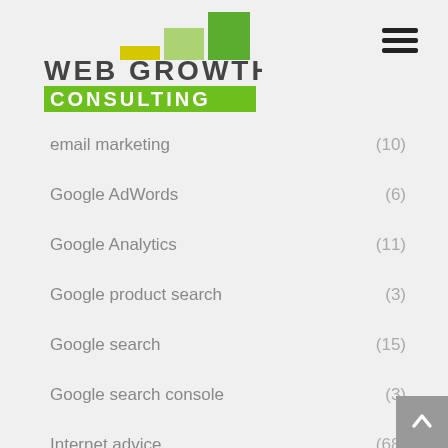[Figure (logo): Web Growth Consulting logo with colored bar chart graphic and green banner text]
email marketing (10)
Google AdWords (6)
Google Analytics (11)
Google product search (3)
Google search (15)
Google search console (3)
Internet advice (68)
Internet news (111)
Internet security (22)
Latest web design (21)
Marketing (4)
Mobile apps (1)